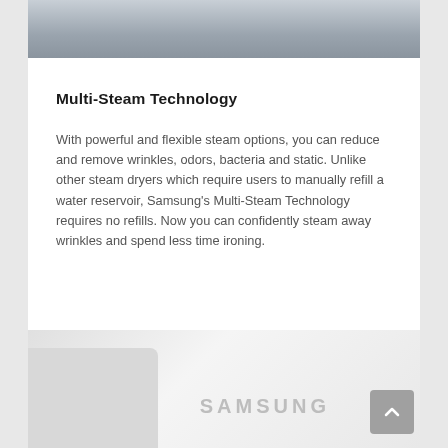[Figure (photo): Top portion of a photo showing a person holding or handling fabric/clothing, partially cropped at top of page]
Multi-Steam Technology
With powerful and flexible steam options, you can reduce and remove wrinkles, odors, bacteria and static. Unlike other steam dryers which require users to manually refill a water reservoir, Samsung's Multi-Steam Technology requires no refills. Now you can confidently steam away wrinkles and spend less time ironing.
[Figure (photo): Bottom portion showing a white Samsung appliance (dryer) with the Samsung logo visible, partially cropped]